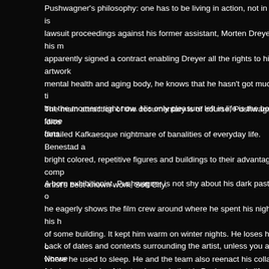Pushwagner's philosophy: one has to be living in action, not in theory, is ... lawsuit proceedings against his former assistant, Morten Dreyer (in his m... apparently signed a contract enabling Dreyer all the rights to his artwork... mental health and aging body, he knows that he hasn't got much more ti... but the moment right now. His only pleasure left in life is the booze, fame... fans.
The main attraction of the documentary is of course, Pushwagner's idios... detailed Kafkaesque nightmare of banalities of everyday life. Benestad a... bright colored, repetitive figures and buildings to their advantage in comp... artist's best known work, Soft City.
A born exhibitionist, Pushwagner is not shy about his dark past. In one o... he eagerly shows the film crew around where he spent his nights in his h... of some building. It kept him warm on winter nights. He loses his trace o... where he used to sleep. He and the team also reenact his collapse from... hospitalization. But it has a lot of tender moments too. A footage of him v... mentor/collaborator, novelist Axel Jensen is very touching.
Lack of dates and contexts surrounding the artist, unless you are Norwe... whole magnitude of the tragicomedy that is Pushwagner's life. But with lo... storytelling with compelling hero, Pushwagner is a great entertaining doc...